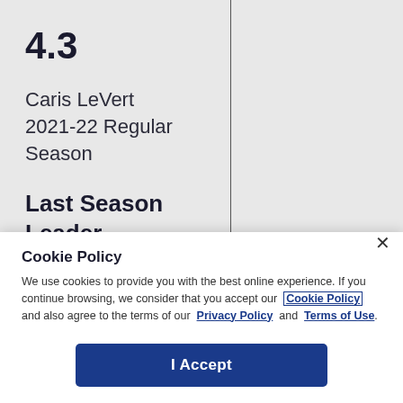4.3
Caris LeVert 2021-22 Regular Season
Last Season
Leader
Cookie Policy
We use cookies to provide you with the best online experience. If you continue browsing, we consider that you accept our Cookie Policy and also agree to the terms of our Privacy Policy and Terms of Use.
I Accept